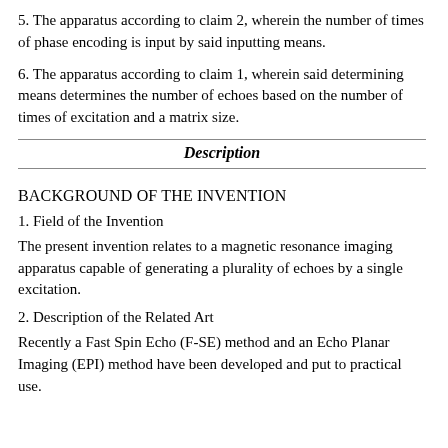5. The apparatus according to claim 2, wherein the number of times of phase encoding is input by said inputting means.
6. The apparatus according to claim 1, wherein said determining means determines the number of echoes based on the number of times of excitation and a matrix size.
Description
BACKGROUND OF THE INVENTION
1. Field of the Invention
The present invention relates to a magnetic resonance imaging apparatus capable of generating a plurality of echoes by a single excitation.
2. Description of the Related Art
Recently a Fast Spin Echo (F-SE) method and an Echo Planar Imaging (EPI) method have been developed and put to practical use.